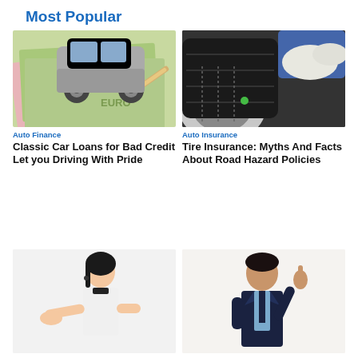Most Popular
[Figure (photo): Toy car model placed on top of euro banknotes with a pen]
Auto Finance
Classic Car Loans for Bad Credit Let you Driving With Pride
[Figure (photo): Mechanic in gloves inspecting a car tire/wheel]
Auto Insurance
Tire Insurance: Myths And Facts About Road Hazard Policies
[Figure (photo): Young Asian woman in white sleeveless top gesturing with open palm]
[Figure (photo): Indian man in suit pointing upward with smile]